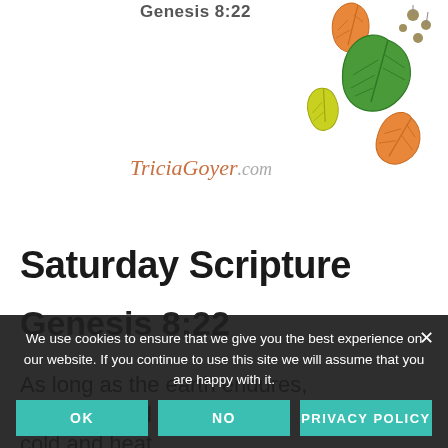Genesis 8:22
[Figure (illustration): Decorative autumn leaves illustration in orange, green, and yellow in the top right corner]
TriciaGoyer.com
Saturday Scripture
Genesis 8:22
As long as the earth endures,
seedtime and harvest,
cold and heat,
summer and winter,
day and night
will never cease.
Prayer
We use cookies to ensure that we give you the best experience on our website. If you continue to use this site we will assume that you are happy with it.